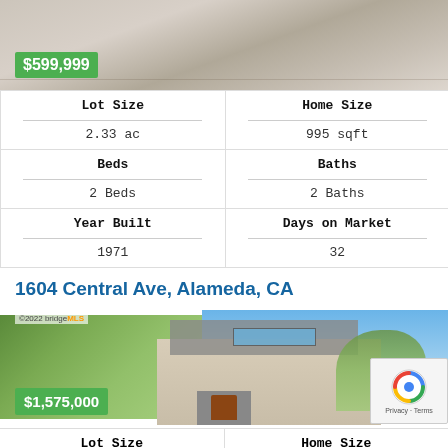[Figure (photo): Interior photo of a room with hardwood floors, partially visible furniture]
$599,999
|  |  |
| --- | --- |
| Lot Size | Home Size |
| 2.33 ac | 995 sqft |
| Beds | Baths |
| 2 Beds | 2 Baths |
| Year Built | Days on Market |
| 1971 | 32 |
1604 Central Ave, Alameda, CA
[Figure (photo): Exterior photo of a two-story beige house with trees and blue sky, copyright 2022 bridgeMLS]
$1,575,000
| Lot Size | Home Size |
| --- | --- |